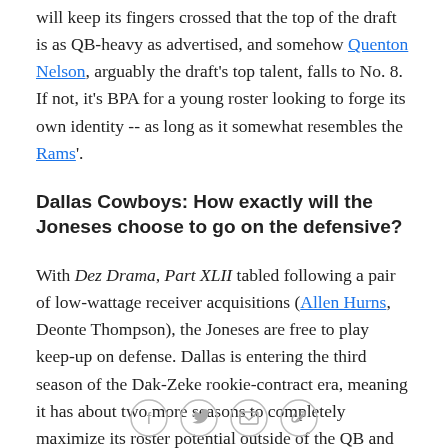will keep its fingers crossed that the top of the draft is as QB-heavy as advertised, and somehow Quenton Nelson, arguably the draft's top talent, falls to No. 8. If not, it's BPA for a young roster looking to forge its own identity -- as long as it somewhat resembles the Rams'.
Dallas Cowboys: How exactly will the Joneses choose to go on the defensive?
With Dez Drama, Part XLII tabled following a pair of low-wattage receiver acquisitions (Allen Hurns, Deonte Thompson), the Joneses are free to play keep-up on defense. Dallas is entering the third season of the Dak-Zeke rookie-contract era, meaning it has about two more seasons to completely maximize its roster potential outside of the QB and RB positions. The
[Figure (other): Social sharing icons: Facebook, Twitter, Email, Link]